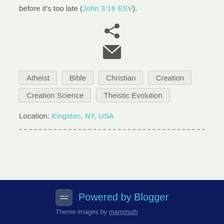before it's too late (John 3:16 ESV).
[Figure (infographic): Share icon (three connected dots) and Email icon (envelope)]
Atheist
Bible
Christian
Creation
Creation Science
Theistic Evolution
Location: Kingston, NY, USA
Powered by Blogger
Theme images by mammuth